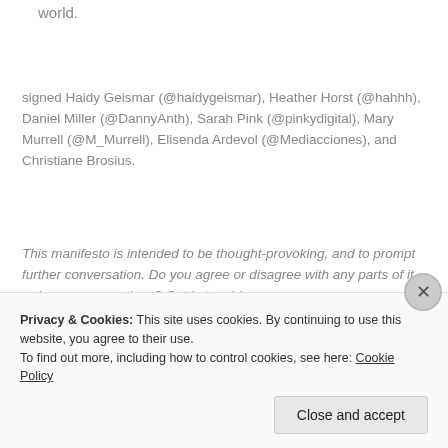world.
signed Haidy Geismar (@haidygeismar), Heather Horst (@hahhh), Daniel Miller (@DannyAnth), Sarah Pink (@pinkydigital), Mary Murrell (@M_Murrell), Elisenda Ardevol (@Mediacciones), and Christiane Brosius.
This manifesto is intended to be thought-provoking, and to prompt further conversation. Do you agree or disagree with any parts of it, or have any questions? Get in touch!
Privacy & Cookies: This site uses cookies. By continuing to use this website, you agree to their use.
To find out more, including how to control cookies, see here: Cookie Policy
Close and accept